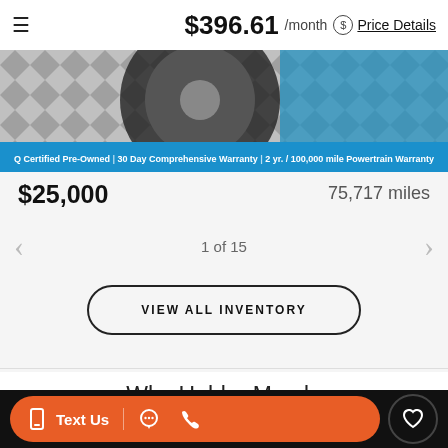$396.61 /month Price Details
[Figure (photo): Partial view of a certified pre-owned car (wheel/tire visible), with a blue banner reading: Q Certified Pre-Owned | 30 Day Comprehensive Warranty | 2 yr. / 100,000 mile Powertrain Warranty]
$25,000
75,717 miles
1 of 15
VIEW ALL INVENTORY
Why Hubler Mazda
Text Us